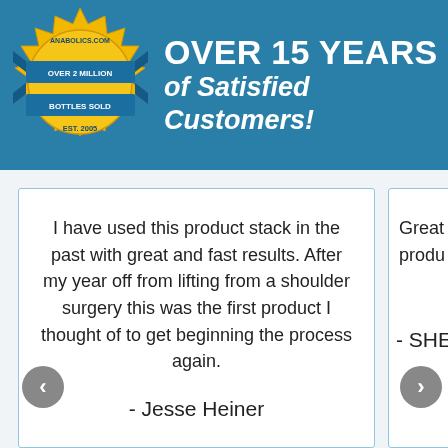[Figure (logo): Anabolics.com badge/seal with gold starburst, blue ribbon, text 'OVER 2 MILLION BOTTLES SOLD', 'EST. 2005']
OVER 15 YEARS of Satisfied Customers!
I have used this product stack in the past with great and fast results. After my year off from lifting from a shoulder surgery this was the first product I thought of to get beginning the process again.

- Jesse Heiner
Great produ...

- SHE...